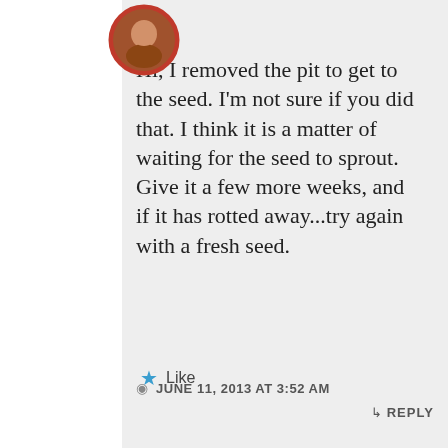[Figure (photo): Circular avatar photo of a person with a red border, positioned in the upper left white column area.]
Hi, I removed the pit to get to the seed. I'm not sure if you did that. I think it is a matter of waiting for the seed to sprout. Give it a few more weeks, and if it has rotted away...try again with a fresh seed.
★ Like
JUNE 11, 2013 AT 3:52 AM
↳ REPLY